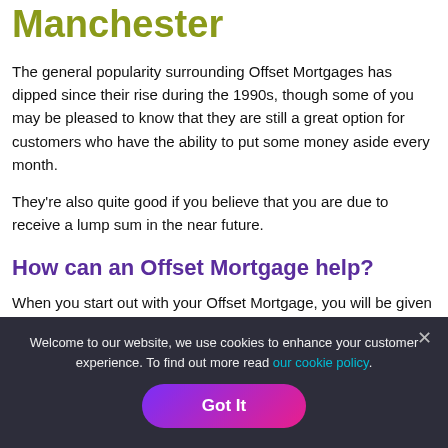Manchester
The general popularity surrounding Offset Mortgages has dipped since their rise during the 1990s, though some of you may be pleased to know that they are still a great option for customers who have the ability to put some money aside every month.
They're also quite good if you believe that you are due to receive a lump sum in the near future.
How can an Offset Mortgage help?
When you start out with your Offset Mortgage, you will be given
Welcome to our website, we use cookies to enhance your customer experience. To find out more read our cookie policy.